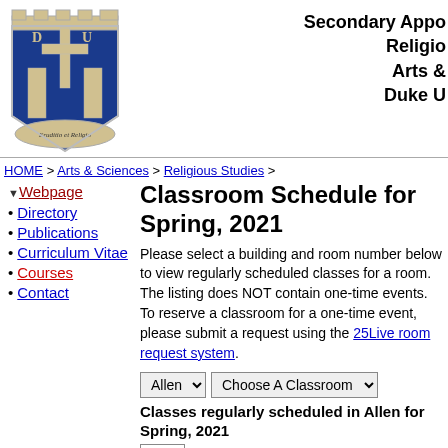[Figure (logo): Duke University crest/shield logo with 'Eruditio et Religio' motto]
Secondary Appoi
Relgio
Arts &
Duke U
HOME > Arts & Sciences > Religious Studies >
▼ Webpage
• Directory
• Publications
• Curriculum Vitae
• Courses
• Contact
Classroom Schedule for Spring, 2021
Please select a building and room number below to view regularly scheduled classes for a room. The listing does NOT contain one-time events. To reserve a classroom for a one-time event, please submit a request using the 25Live room request system.
Allen [dropdown]   Choose A Classroom [dropdown]
Classes regularly scheduled in Allen for Spring, 2021
MON...